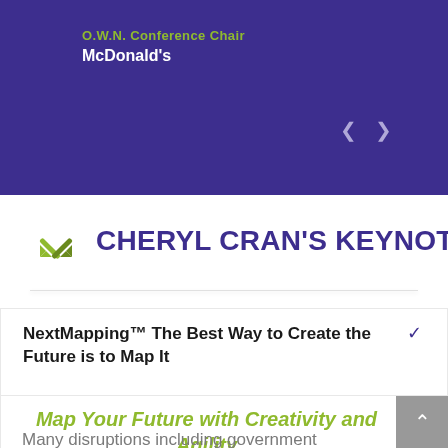O.W.N. Conference Chair
McDonald's
CHERYL CRAN'S KEYNOTES
NextMapping™ The Best Way to Create the Future is to Map It
Map Your Future with Creativity and Agility
Many disruptions including government